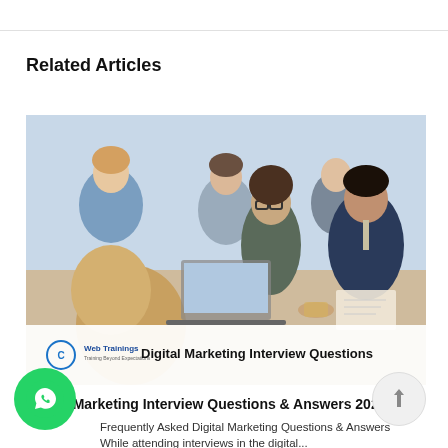Related Articles
[Figure (photo): Group of business professionals sitting around a conference table with a laptop, discussing digital marketing. Overlay banner at the bottom shows Web Trainings logo and text 'Digital Marketing Interview Questions'.]
Digital Marketing Interview Questions & Answers 2022
Frequently Asked Digital Marketing Questions & Answers While attending interviews in the digital...